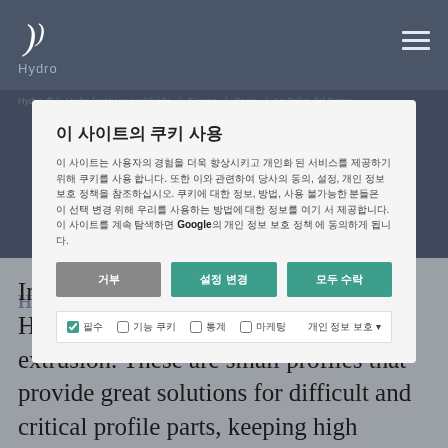[Figure (logo): Hydro company logo — stylized D-shape icon in white on dark background, with 'Hydro' text below]
이 사이트의 쿠키 사용
이 사이트는 사용자의 경험을 더욱 향상시키고 개인화 된 서비스를 제공하기 위해 쿠키를 사용 합니다. 또한 이와 관련하여 당사의 동의, 설정, 개인 정보 보호 정책을 참조하십시오. 쿠키에 대한 정보, 방법, 사용 불가능한 분들은 이 선택 변경 위해 우리를 사용하는 방법에 대한 정보를 여기서 제공합니다. 이 사이트를 계속 탐색하면 Google의 개인 정보 보호 정책 에 동의하게 됩니다.
In La Selva del Camp (Tarragona), Hydro has a plant specialized in micro-extrusion. These are small profiles that provide great solutions for difficult and critical profile parts, keeping high surface quality.